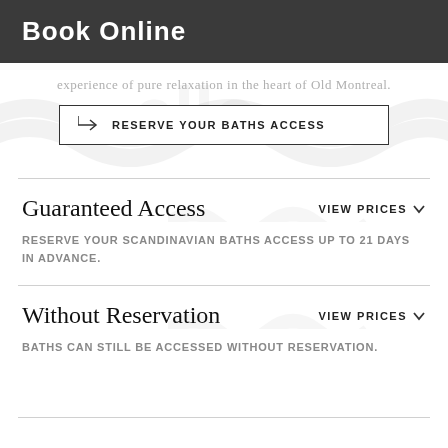Book Online
experience of pure relaxation in the heart of Old Montreal.
→ RESERVE YOUR BATHS ACCESS
Guaranteed Access
VIEW PRICES
RESERVE YOUR SCANDINAVIAN BATHS ACCESS UP TO 21 DAYS IN ADVANCE.
Without Reservation
VIEW PRICES
BATHS CAN STILL BE ACCESSED WITHOUT RESERVATION.